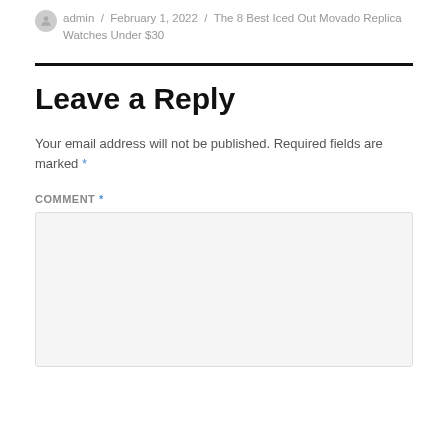admin / February 1, 2022 / The 8 Best Iced Out Movado Replica Watches Under $30
Leave a Reply
Your email address will not be published. Required fields are marked *
COMMENT *